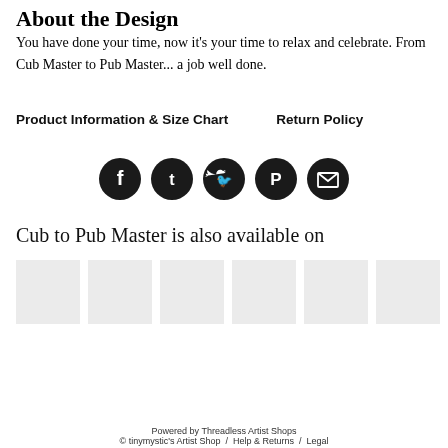About the Design
You have done your time, now it's your time to relax and celebrate. From Cub Master to Pub Master... a job well done.
Product Information & Size Chart   Return Policy
[Figure (infographic): Row of five circular dark social media sharing icons: Facebook, Tumblr, Twitter, Pinterest, Email]
Cub to Pub Master is also available on
[Figure (infographic): Row of six grey product thumbnail images]
Powered by Threadless Artist Shops
© tinymystic's Artist Shop / Help & Returns / Legal